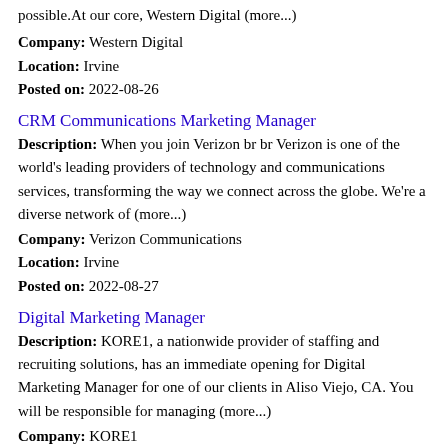possible. At our core, Western Digital (more...)
Company: Western Digital
Location: Irvine
Posted on: 2022-08-26
CRM Communications Marketing Manager
Description: When you join Verizon br br Verizon is one of the world's leading providers of technology and communications services, transforming the way we connect across the globe. We're a diverse network of (more...)
Company: Verizon Communications
Location: Irvine
Posted on: 2022-08-27
Digital Marketing Manager
Description: KORE1, a nationwide provider of staffing and recruiting solutions, has an immediate opening for Digital Marketing Manager for one of our clients in Aliso Viejo, CA. You will be responsible for managing (more...)
Company: KORE1
Location: Aliso Viejo
Posted on: 2022-08-29
Sr Product Manager I, Patient Marketing
Description: Develop an annual product marketing plan and execute to effectively market Edwards existing products to constituents including Edwards's sales representatives, clinicians and hospital administrators. Key (more...)